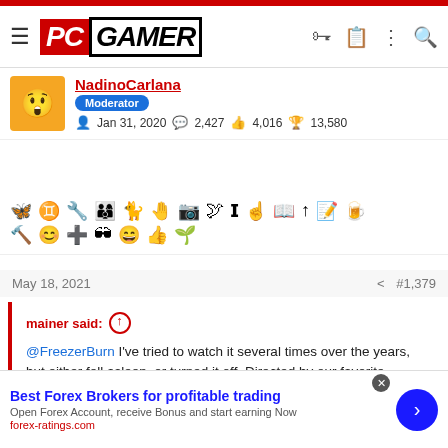PC GAMER
NadinoCarlana
Moderator
Jan 31, 2020  2,427  4,016  13,580
[Figure (other): Emoji/reaction toolbar with various emoji icons in two rows]
May 18, 2021  #1,379
mainer said: ↑
@FreezerBurn I've tried to watch it several times over the years, but either fell asleep, or turned it off. Directed by our favorite games-to-movies director: Uwe Boll. If there's a 10 worst list of games-to-movies movies somewhere, this one is surely a candidate
Best Forex Brokers for profitable trading
Open Forex Account, receive Bonus and start earning Now
forex-ratings.com